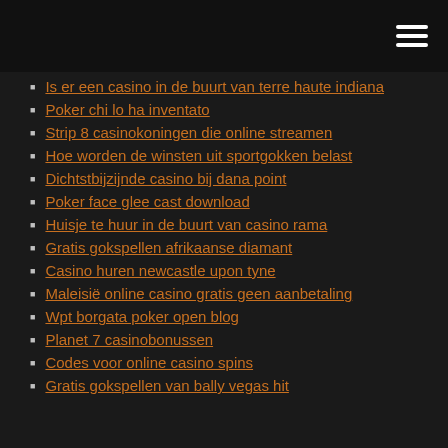Is er een casino in de buurt van terre haute indiana
Poker chi lo ha inventato
Strip 8 casinokoningen die online streamen
Hoe worden de winsten uit sportgokken belast
Dichtstbijzijnde casino bij dana point
Poker face glee cast download
Huisje te huur in de buurt van casino rama
Gratis gokspellen afrikaanse diamant
Casino huren newcastle upon tyne
Maleisië online casino gratis geen aanbetaling
Wpt borgata poker open blog
Planet 7 casinobonussen
Codes voor online casino spins
Gratis gokspellen van bally vegas hit